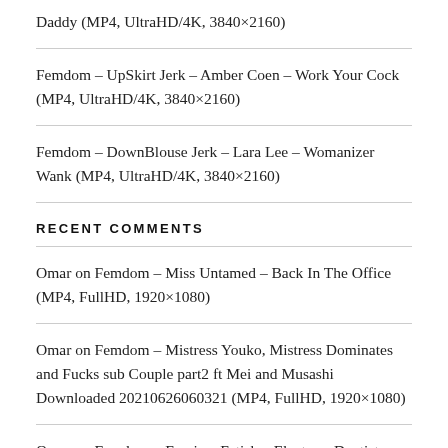Daddy (MP4, UltraHD/4K, 3840×2160)
Femdom – UpSkirt Jerk – Amber Coen – Work Your Cock (MP4, UltraHD/4K, 3840×2160)
Femdom – DownBlouse Jerk – Lara Lee – Womanizer Wank (MP4, UltraHD/4K, 3840×2160)
RECENT COMMENTS
Omar on Femdom – Miss Untamed – Back In The Office (MP4, FullHD, 1920×1080)
Omar on Femdom – Mistress Youko, Mistress Dominates and Fucks sub Couple part2 ft Mei and Musashi Downloaded 20210626060321 (MP4, FullHD, 1920×1080)
Omar on Femdom – Forzia – Fetish – Electro – Dentist –